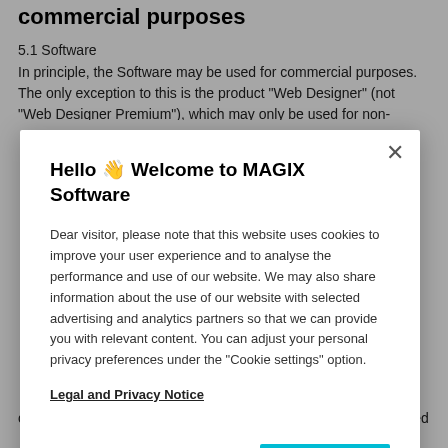commercial purposes
5.1 Software
In principle, the Software may be used for commercial purposes. The only exception to this is the product "Web Designer" (not "Web Designer Premium"), which may only be used for non-
[Figure (screenshot): Cookie consent modal dialog with title 'Hello 🎉 Welcome to MAGIX Software', descriptive text about cookies, Legal and Privacy Notice link, Cookie Settings button, and OK button]
c) Exploitation of Contents outside the scope of personally created